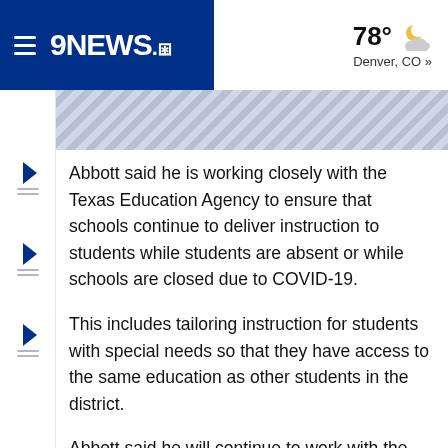9NEWS | 78° Denver, CO »
[Figure (screenshot): Ad banner with diagonal stripe pattern]
Abbott said he is working closely with the Texas Education Agency to ensure that schools continue to deliver instruction to students while students are absent or while schools are closed due to COVID-19.
This includes tailoring instruction for students with special needs so that they have access to the same education as other students in the district.
Abbott said he will continue to work with the TEA on developing additional methods to ensure that students are learning and ready to succeed at the next grade-level.
Your health and safety are top priorities, and the state of Texas will give school districts flexibility to protect and